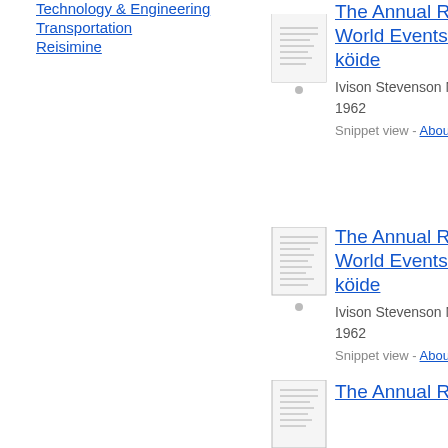Technology & Engineering
Transportation
Reisimine
[Figure (illustration): Small book thumbnail image for The Annual Register of World Events, 203. köide]
The Annual Register of World Events, 203. köide
Ivison Stevenson Macadam - 1962
Snippet view - About this book
[Figure (illustration): Small book thumbnail image for The Annual Register of World Events, 203. köide]
The Annual Register of World Events, 203. köide
Ivison Stevenson Macadam - 1962
Snippet view - About this book
[Figure (illustration): Small book thumbnail image for The Annual Register of World Events]
The Annual Register of